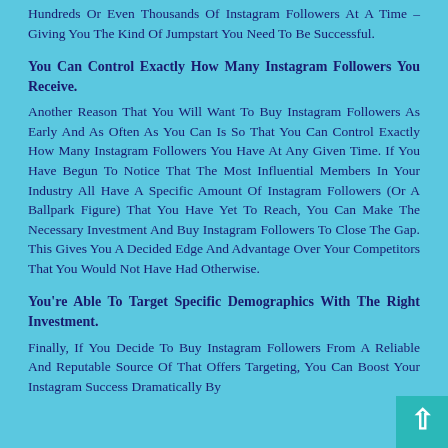Hundreds Or Even Thousands Of Instagram Followers At A Time – Giving You The Kind Of Jumpstart You Need To Be Successful.
You Can Control Exactly How Many Instagram Followers You Receive.
Another Reason That You Will Want To Buy Instagram Followers As Early And As Often As You Can Is So That You Can Control Exactly How Many Instagram Followers You Have At Any Given Time. If You Have Begun To Notice That The Most Influential Members In Your Industry All Have A Specific Amount Of Instagram Followers (Or A Ballpark Figure) That You Have Yet To Reach, You Can Make The Necessary Investment And Buy Instagram Followers To Close The Gap. This Gives You A Decided Edge And Advantage Over Your Competitors That You Would Not Have Had Otherwise.
You're Able To Target Specific Demographics With The Right Investment.
Finally, If You Decide To Buy Instagram Followers From A Reliable And Reputable Source Of That Offers Targeting, You Can Boost Your Instagram Success Dramatically By...